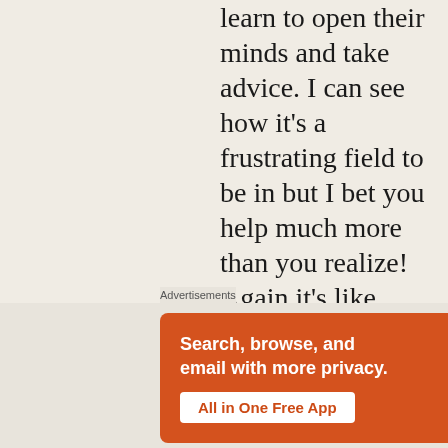learn to open their minds and take advice. I can see how it’s a frustrating field to be in but I bet you help much more than you realize! Again it’s like planting a seed in that you don’t see instant results but when you step back and look at the big picture you know that you were a key component
[Figure (screenshot): DuckDuckGo advertisement banner with orange background. Text reads 'Search, browse, and email with more privacy. All in One Free App' with a phone showing the DuckDuckGo app logo.]